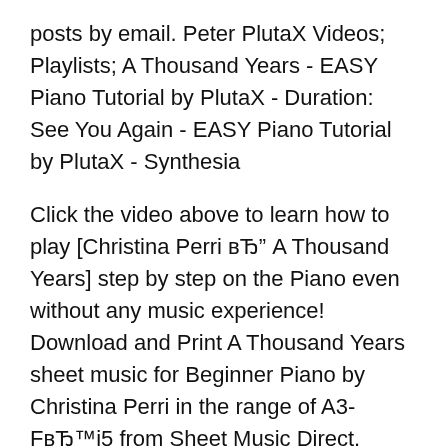posts by email. Peter PlutaX Videos; Playlists; A Thousand Years - EASY Piano Tutorial by PlutaX - Duration: See You Again - EASY Piano Tutorial by PlutaX - Synthesia
Click the video above to learn how to play [Christina Perri вЂ" A Thousand Years] step by step on the Piano even without any music experience! Download and Print A Thousand Years sheet music for Beginner Piano by Christina Perri in the range of A3-FвЂ™i5 from Sheet Music Direct.
Peter PlutaX Videos; Playlists; A Thousand Years - EASY Piano Tutorial by PlutaX - Duration: See You Again - EASY Piano Tutorial by PlutaX - Synthesia Peter PlutaX Videos; Playlists; A